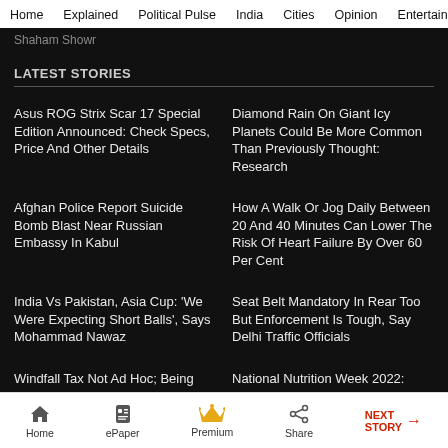Home  Explained  Political Pulse  India  Cities  Opinion  Entertainment
Shaham Showr
LATEST STORIES
Asus ROG Strix Scar 17 Special Edition Announced: Check Specs, Price And Other Details
Diamond Rain On Giant Icy Planets Could Be More Common Than Previously Thought: Research
Afghan Police Report Suicide Bomb Blast Near Russian Embassy In Kabul
How A Walk Or Jog Daily Between 20 And 40 Minutes Can Lower The Risk Of Heart Failure By Over 60 Per Cent
India Vs Pakistan, Asia Cup: 'We Were Expecting Short Balls', Says Mohammad Nawaz
Seat Belt Mandatory In Rear Too But Enforcement Is Tough, Say Delhi Traffic Officials
Windfall Tax Not Ad Hoc; Being
National Nutrition Week 2022:
Home  ePaper  Premium  Share  NEXT STORY